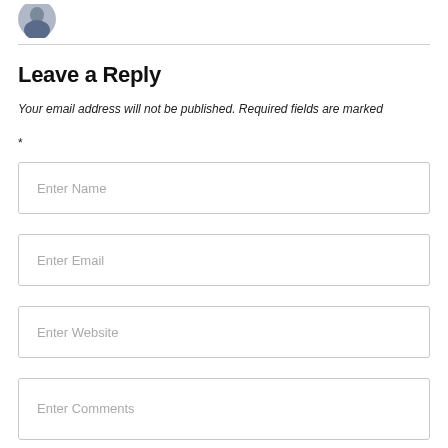[Figure (photo): Partial avatar/profile photo of a person in a suit, cropped at top of page]
Leave a Reply
Your email address will not be published. Required fields are marked *
Enter Name
Enter Email
Enter Website
Enter Comments